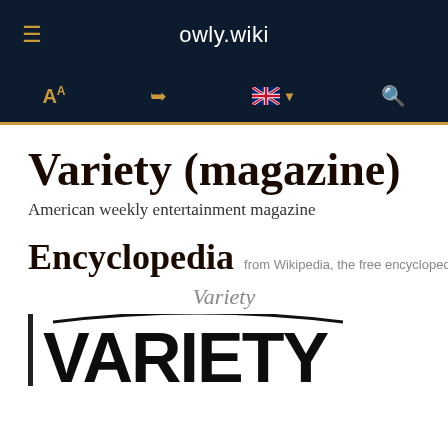owly.wiki
[Figure (screenshot): Mobile app toolbar with font size icon, share icon, UK flag with dropdown, and search icon — all in gold on dark navy background]
Variety (magazine)
American weekly entertainment magazine
Encyclopedia  from Wikipedia, the free encyclopedia
Variety
[Figure (logo): Variety magazine logo in large black bold serif/slab font with a decorative arch line above the letters]